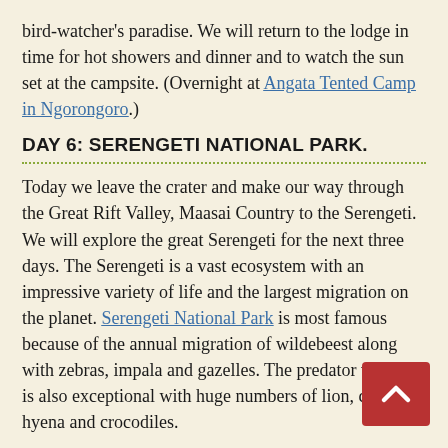bird-watcher's paradise. We will return to the lodge in time for hot showers and dinner and to watch the sun set at the campsite. (Overnight at Angata Tented Camp in Ngorongoro.)
DAY 6: SERENGETI NATIONAL PARK.
Today we leave the crater and make our way through the Great Rift Valley, Maasai Country to the Serengeti. We will explore the great Serengeti for the next three days. The Serengeti is a vast ecosystem with an impressive variety of life and the largest migration on the planet. Serengeti National Park is most famous because of the annual migration of wildebeest along with zebras, impala and gazelles. The predator viewing is also exceptional with huge numbers of lion, cheetah, hyena and crocodiles.